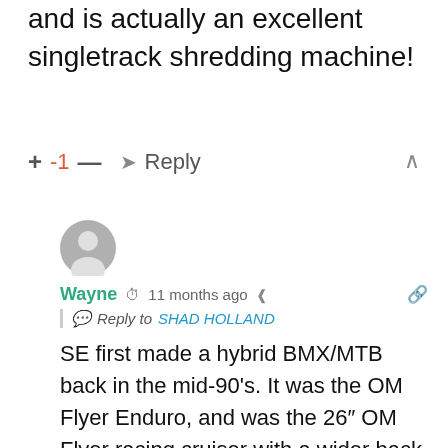and is actually an excellent singletrack shredding machine!
+ -1 — ➜ Reply
[Figure (illustration): User avatar: gray circle with white person silhouette icon]
Wayne  🕐 11 months ago  ⬡  Reply to SHAD HOLLAND
SE first made a hybrid BMX/MTB back in the mid-90's. It was the OM Flyer Enduro, and was the 26″ OM Flyer racing cruiser with a wider back end to accommodate a derailleur and gears. I think that was first issued in '95, a few years before Surly was founded. SE also made OM Flyers with the wider rear spacing in the mid 00's, which were popular